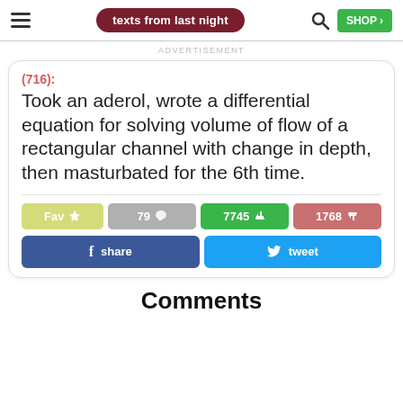texts from last night
ADVERTISEMENT
(716):
Took an aderol, wrote a differential equation for solving volume of flow of a rectangular channel with change in depth, then masturbated for the 6th time.
Fav | 79 | 7745 | 1768
share | tweet
Comments